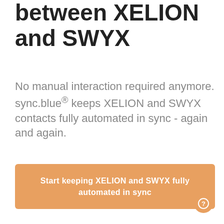Fully automated sync between XELION and SWYX
No manual interaction required anymore. sync.blue® keeps XELION and SWYX contacts fully automated in sync - again and again.
Start keeping XELION and SWYX fully automated in sync